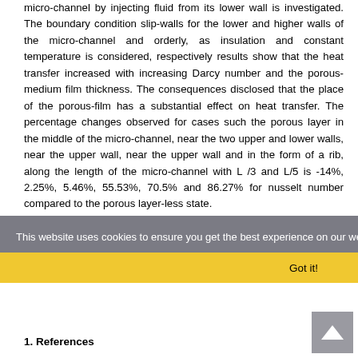micro-channel by injecting fluid from its lower wall is investigated. The boundary condition slip-walls for the lower and higher walls of the micro-channel and orderly, as insulation and constant temperature is considered, respectively results show that the heat transfer increased with increasing Darcy number and the porous-medium film thickness. The consequences disclosed that the place of the porous-film has a substantial effect on heat transfer. The percentage changes observed for cases such the porous layer in the middle of the micro-channel, near the two upper and lower walls, near the upper wall, near the upper wall and in the form of a rib, along the length of the micro-channel with L /3 and L/5 is -14%, 2.25%, 5.46%, 55.53%, 70.5% and 86.27% for nusselt number compared to the porous layer-less state.
Keywords
Micro-channel ;  Porous Media ;  Heat Transfer ;  Nano-Fluid
This website uses cookies to ensure you get the best experience on our website.
Got it!
1. References